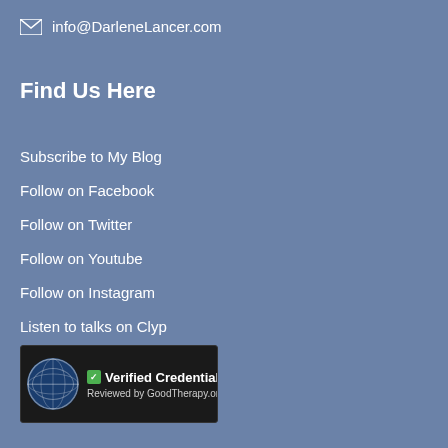info@DarleneLancer.com
Find Us Here
Subscribe to My Blog
Follow on Facebook
Follow on Twitter
Follow on Youtube
Follow on Instagram
Listen to talks on Clyp
[Figure (logo): Verified Credentials badge - Reviewed by GoodTherapy.org, showing a globe icon and green checkmark]